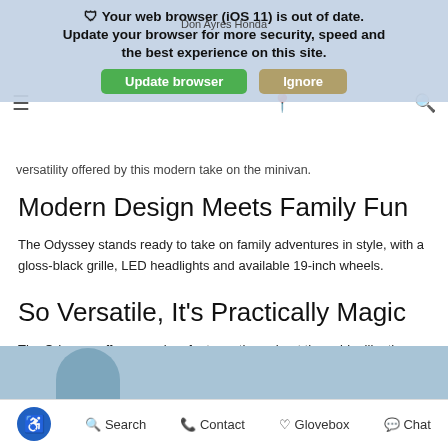Your web browser (iOS 11) is out of date. Update your browser for more security, speed and the best experience on this site. [Update browser] [Ignore]
versatility offered by this modern take on the minivan.
Modern Design Meets Family Fun
The Odyssey stands ready to take on family adventures in style, with a gloss-black grille, LED headlights and available 19-inch wheels.
So Versatile, It's Practically Magic
The Odyssey offers premium features throughout the cabin, like the available Magic Slide® 2nd-row seats and hands-free access power tailgate, to help you load up the family and all your gear with ease.
[Figure (photo): Partial image of a person with a bicycle helmet, blue background, at bottom of page]
Accessibility  Search  Contact  Glovebox  Chat